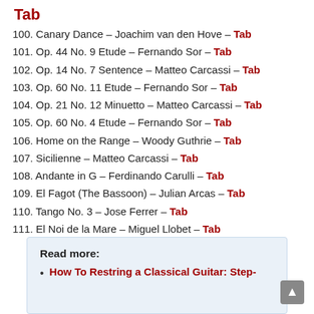Tab
100. Canary Dance – Joachim van den Hove – Tab
101. Op. 44 No. 9 Etude – Fernando Sor – Tab
102. Op. 14 No. 7 Sentence – Matteo Carcassi – Tab
103. Op. 60 No. 11 Etude – Fernando Sor – Tab
104. Op. 21 No. 12 Minuetto – Matteo Carcassi – Tab
105. Op. 60 No. 4 Etude – Fernando Sor – Tab
106. Home on the Range – Woody Guthrie – Tab
107. Sicilienne – Matteo Carcassi – Tab
108. Andante in G – Ferdinando Carulli – Tab
109. El Fagot (The Bassoon) – Julian Arcas – Tab
110. Tango No. 3 – Jose Ferrer – Tab
111. El Noi de la Mare – Miguel Llobet – Tab
Read more:
How To Restring a Classical Guitar: Step-